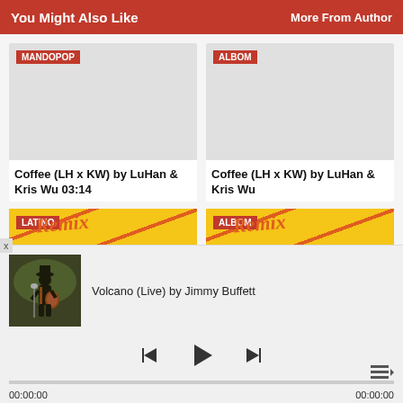You Might Also Like    More From Author
Coffee (LH x KW) by LuHan & Kris Wu 03:14
Coffee (LH x KW) by LuHan & Kris Wu
[Figure (screenshot): Music cards with MANDOPOP and ALBOM badges, blank album art placeholders]
[Figure (screenshot): Music cards with LATINO and ALBOM badges, colorful remix-style album art]
Volcano (Live) by Jimmy Buffett
[Figure (photo): Thumbnail of musician playing guitar on stage]
00:00:00
00:00:00